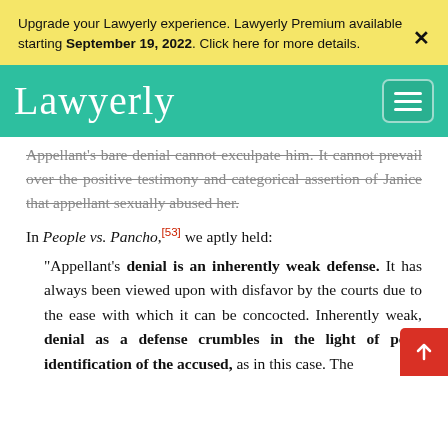Upgrade your Lawyerly experience. Lawyerly Premium available starting September 19, 2022. Click here for more details.
[Figure (logo): Lawyerly website logo and navigation bar with teal background, cursive Lawyerly text, and hamburger menu button]
Appellant's bare denial cannot exculpate him. It cannot prevail over the positive testimony and categorical assertion of Janice that appellant sexually abused her.
In People vs. Pancho,[53] we aptly held:
"Appellant's denial is an inherently weak defense. It has always been viewed upon with disfavor by the courts due to the ease with which it can be concocted. Inherently weak, denial as a defense crumbles in the light of positive identification of the accused, as in this case. The defense of denial cannot prevail over the